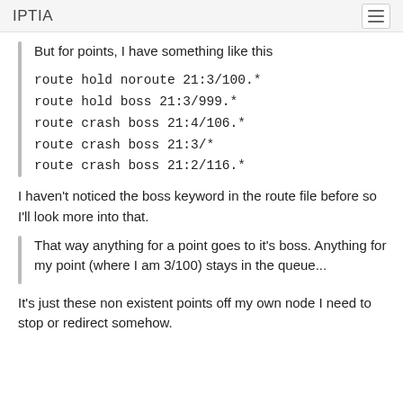IPTIA
But for points, I have something like this
route hold noroute 21:3/100.*
route hold boss 21:3/999.*
route crash boss 21:4/106.*
route crash boss 21:3/*
route crash boss 21:2/116.*
I haven't noticed the boss keyword in the route file before so I'll look more into that.
That way anything for a point goes to it's boss. Anything for my point (where I am 3/100) stays in the queue...
It's just these non existent points off my own node I need to stop or redirect somehow.